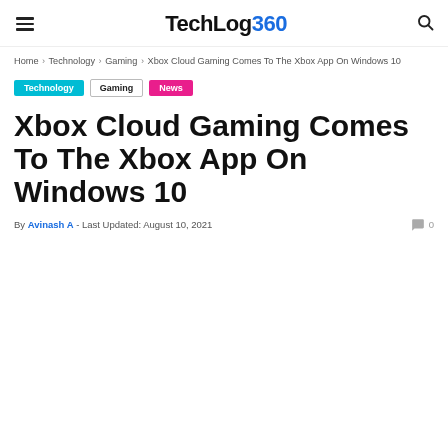TechLog360
Home › Technology › Gaming › Xbox Cloud Gaming Comes To The Xbox App On Windows 10
Technology
Gaming
News
Xbox Cloud Gaming Comes To The Xbox App On Windows 10
By Avinash A - Last Updated: August 10, 2021